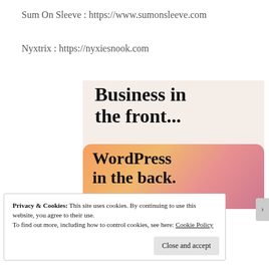Sum On Sleeve : https://www.sumonsleeve.com
Nyxtrix : https://nyxiesnook.com
[Figure (screenshot): Screenshot of a webpage showing text 'Business in the front...' on a light beige background, and below it a colourful orange-pink gradient card with bold text 'WordPress in the back.']
Privacy & Cookies: This site uses cookies. By continuing to use this website, you agree to their use.
To find out more, including how to control cookies, see here: Cookie Policy
Close and accept